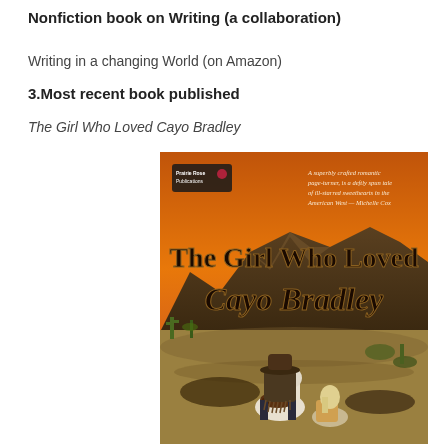Nonfiction book on Writing (a collaboration)
Writing in a changing World (on Amazon)
3.Most recent book published
The Girl Who Loved Cayo Bradley
[Figure (illustration): Book cover for 'The Girl Who Loved Cayo Bradley' showing a Western scene with desert mountains, orange sky, a person on horseback viewed from behind wearing a cowboy hat, a woman with light hair, cacti, and rocky terrain. The cover includes a publisher logo (Prairie Rose Publications) and a blurb from Michelle Cox.]